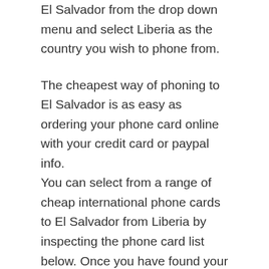El Salvador from the drop down menu and select Liberia as the country you wish to phone from.
The cheapest way of phoning to El Salvador is as easy as ordering your phone card online with your credit card or paypal info.
You can select from a range of cheap international phone cards to El Salvador from Liberia by inspecting the phone card list below. Once you have found your best phone to El Salvador, you are nearly done.. Now you can make your selection of the best phone card to El Salvador and can activate your phone card online and begin to make cheap phone calls to El Salvador.
Unlike most other Liberia phone cards, this Liberia